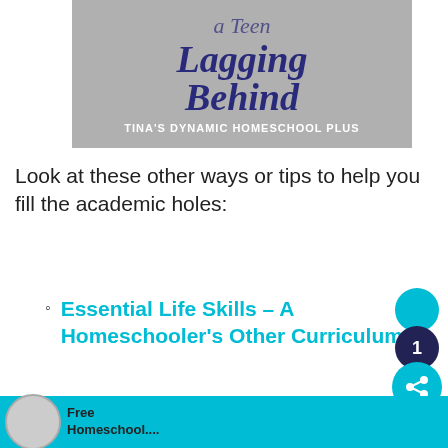[Figure (illustration): Book cover image with gray textured background. Text reads 'a Teen Lagging Behind' in dark navy italic script, with 'TINA'S DYNAMIC HOMESCHOOL PLUS' at the bottom in white capital letters.]
Look at these other ways or tips to help you fill the academic holes:
Essential Life Skills – A Homeschooler's Other Curriculum
Online Homeschool High School Poetry (No Teacher Involved)